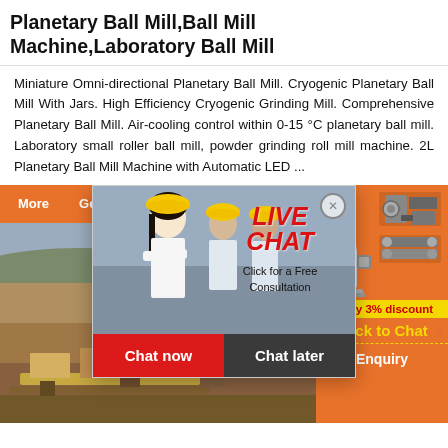Planetary Ball Mill,Ball Mill Machine,Laboratory Ball Mill
Miniature Omni-directional Planetary Ball Mill. Cryogenic Planetary Ball Mill With Jars. High Efficiency Cryogenic Grinding Mill. Comprehensive Planetary Ball Mill. Air-cooling control within 0-15 °C planetary ball mill. Laboratory small roller ball mill, powder grinding roll mill machine. 2L Planetary Ball Mill Machine with Automatic LED ...
[Figure (screenshot): Live chat popup overlay showing workers in yellow hard hats with 'LIVE CHAT - Click for a Free Consultation' text, with 'Chat now' (red) and 'Chat later' (dark) buttons. Behind it: orange-themed website with mining machinery images on the right sidebar, and a mining site photo in the lower left.]